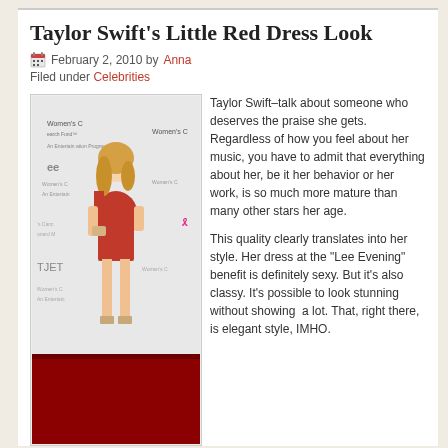Taylor Swift’s Little Red Dress Look
February 2, 2010 by Anna
Filed under Celebrities
[Figure (photo): Taylor Swift in a short red one-shoulder dress at a red carpet event, standing in front of a step-and-repeat banner with Women's Cancer Research Fund and Lee logos]
Taylor Swift–talk about someone who deserves the praise she gets. Regardless of how you feel about her music, you have to admit that everything about her, be it her behavior or her work, is so much more mature than many other stars her age.

This quality clearly translates into her style. Her dress at the "Lee Evening" benefit is definitely sexy. But it’s also classy. It’s possible to look stunning without showing a lot. That, right there, is elegant style, IMHO.